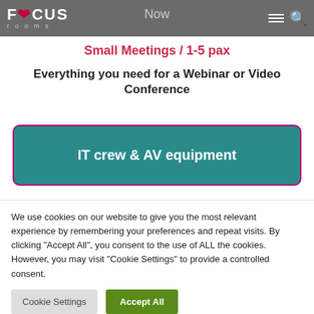Focus Rooms — Now
Small Meetings / 1-5 pax
Everything you need for a Webinar or Video Conference
[Figure (infographic): Teal rounded rectangle box with text 'IT crew & AV equipment' in white, with a red/pink border outline]
We use cookies on our website to give you the most relevant experience by remembering your preferences and repeat visits. By clicking "Accept All", you consent to the use of ALL the cookies. However, you may visit "Cookie Settings" to provide a controlled consent.
Cookie Settings | Accept All